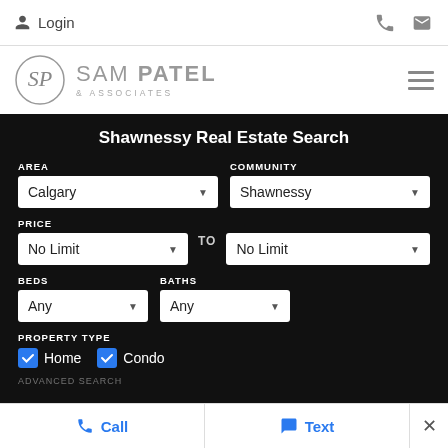Login
[Figure (logo): Sam Patel & Associates logo with circular monogram]
Shawnessy Real Estate Search
AREA: Calgary | COMMUNITY: Shawnessy
PRICE: No Limit TO No Limit
BEDS: Any | BATHS: Any
PROPERTY TYPE: Home (checked), Condo (checked)
Call   Text   X